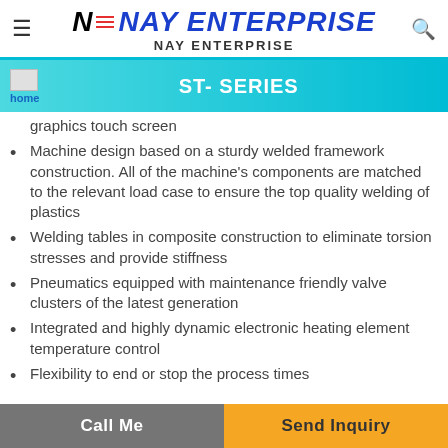NAY ENTERPRISE
ST- SERIES
graphics touch screen
Machine design based on a sturdy welded framework construction. All of the machine's components are matched to the relevant load case to ensure the top quality welding of plastics
Welding tables in composite construction to eliminate torsion stresses and provide stiffness
Pneumatics equipped with maintenance friendly valve clusters of the latest generation
Integrated and highly dynamic electronic heating element temperature control
Flexibility to end or stop the process times